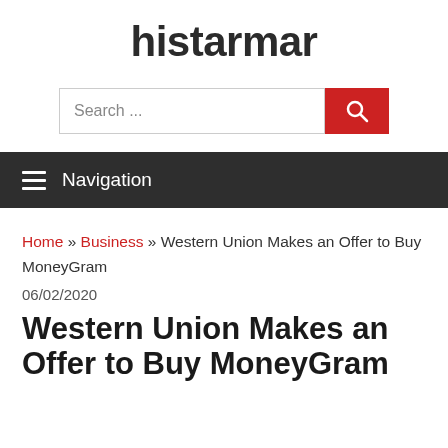histarmar
[Figure (other): Search bar with text input field showing 'Search ...' placeholder and a red search button with magnifying glass icon]
Navigation
Home » Business » Western Union Makes an Offer to Buy MoneyGram
06/02/2020
Western Union Makes an Offer to Buy MoneyGram